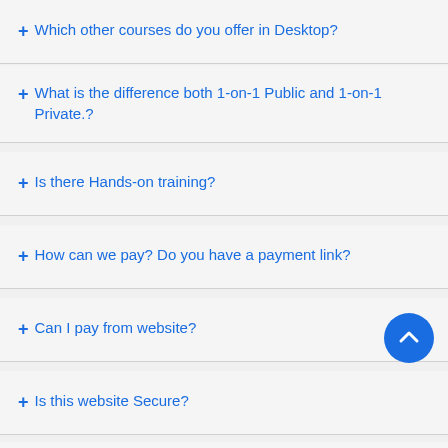+ Which other courses do you offer in Desktop?
+ What is the difference both 1-on-1 Public and 1-on-1 Private.?
+ Is there Hands-on training?
+ How can we pay? Do you have a payment link?
+ Can I pay from website?
+ Is this website Secure?
+ Is my information secure?